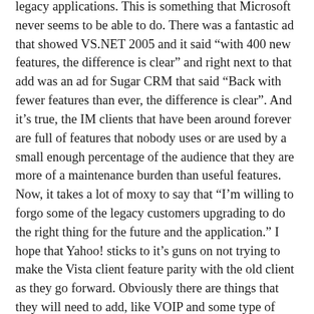legacy applications. This is something that Microsoft never seems to be able to do. There was a fantastic ad that showed VS.NET 2005 and it said “with 400 new features, the difference is clear” and right next to that add was an ad for Sugar CRM that said “Back with fewer features than ever, the difference is clear”. And it’s true, the IM clients that have been around forever are full of features that nobody uses or are used by a small enough percentage of the audience that they are more of a maintenance burden than useful features. Now, it takes a lot of moxy to say that “I’m willing to forgo some of the legacy customers upgrading to do the right thing for the future and the application.” I hope that Yahoo! sticks to it’s guns on not trying to make the Vista client feature parity with the old client as they go forward. Obviously there are things that they will need to add, like VOIP and some type of add-in model, but what form that takes is going to be interesting to see.
I do think if they had chosen to go the embedded client